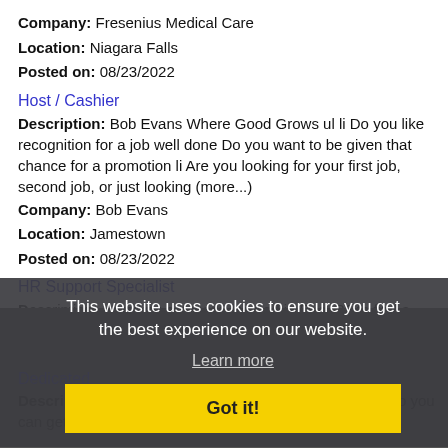Company: Fresenius Medical Care
Location: Niagara Falls
Posted on: 08/23/2022
Host / Cashier
Description: Bob Evans Where Good Grows ul li Do you like recognition for a job well done Do you want to be given that chance for a promotion li Are you looking for your first job, second job, or just looking (more...)
Company: Bob Evans
Location: Jamestown
Posted on: 08/23/2022
HR Support Specialist
Description: ...staffing company located in Erie, PA to find a HR Support Specialist. This is first shift, Monday through Friday opportunity.
Company: Volt
Location: Erie
Posted on: 08/23/2022
This website uses cookies to ensure you get the best experience on our website. Learn more Got it!
Dedicated
Description: Marten has a great dedicated opportunity, so you can get more